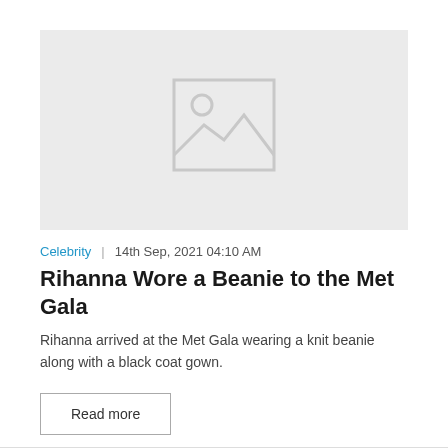[Figure (photo): Placeholder image with grey background and generic image icon (mountain/landscape with circle sun)]
Celebrity  |  14th Sep, 2021 04:10 AM
Rihanna Wore a Beanie to the Met Gala
Rihanna arrived at the Met Gala wearing a knit beanie along with a black coat gown.
Read more